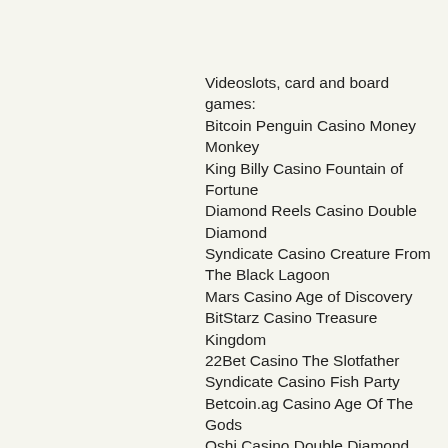Videoslots, card and board games:
Bitcoin Penguin Casino Money Monkey
King Billy Casino Fountain of Fortune
Diamond Reels Casino Double Diamond
Syndicate Casino Creature From The Black Lagoon
Mars Casino Age of Discovery
BitStarz Casino Treasure Kingdom
22Bet Casino The Slotfather
Syndicate Casino Fish Party
Betcoin.ag Casino Age Of The Gods
Oshi Casino Double Diamond
Betcoin.ag Casino Fire Joker
Bitcoin Penguin Casino Santa´s Village
CryptoWild Casino The Epic Journey
Betcoin.ag Casino Forro
CryptoWild Casino Santa´s Kiss
https://ru.yodapeople.com/profile/naeftlamkah/profile